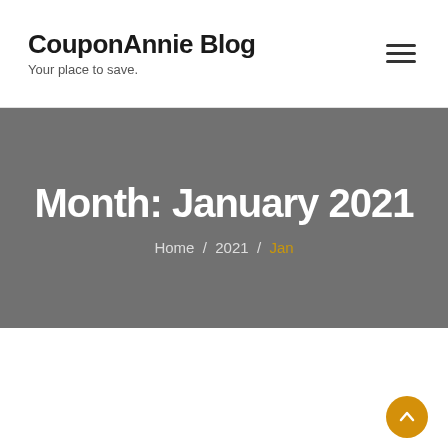CouponAnnie Blog — Your place to save.
Month: January 2021
Home / 2021 / Jan
[Figure (photo): A photo showing two silhouetted figures standing on a city street at dusk, with illuminated buildings in the background and a street lamp visible. The scene is dimly lit with warm and cool tones.]